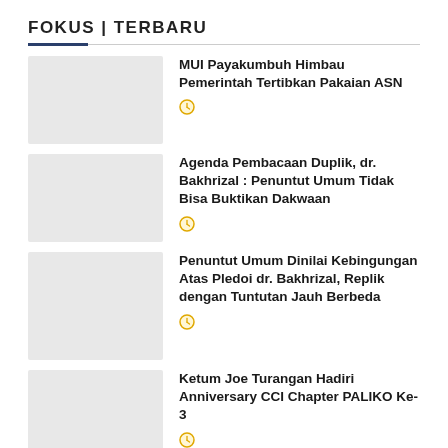FOKUS | TERBARU
MUI Payakumbuh Himbau Pemerintah Tertibkan Pakaian ASN
Agenda Pembacaan Duplik, dr. Bakhrizal : Penuntut Umum Tidak Bisa Buktikan Dakwaan
Penuntut Umum Dinilai Kebingungan Atas Pledoi dr. Bakhrizal, Replik dengan Tuntutan Jauh Berbeda
Ketum Joe Turangan Hadiri Anniversary CCI Chapter PALIKO Ke-3
Tuntutan "Malu-malu Tapi Mau" dan Hilangnya...